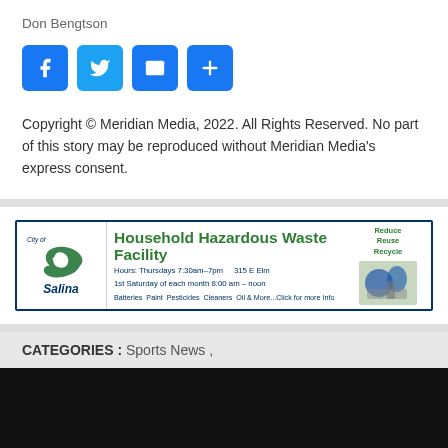Don Bengtson
[Figure (infographic): Social share buttons: Facebook (blue), Twitter (blue), Email (blue envelope), Plus/More (blue plus)]
Copyright © Meridian Media, 2022. All Rights Reserved. No part of this story may be reproduced without Meridian Media's express consent.
[Figure (infographic): City of Salina Household Hazardous Waste Facility advertisement banner. Hours: Thursdays 7:30am–7pm, 315 E Elm, 1st Saturday of each month 8:00 am – noon. Reduce Reuse Recycle. Batteries Paint Pesticides Cleaners Oil & More...Click for more Info]
CATEGORIES : Sports News ,